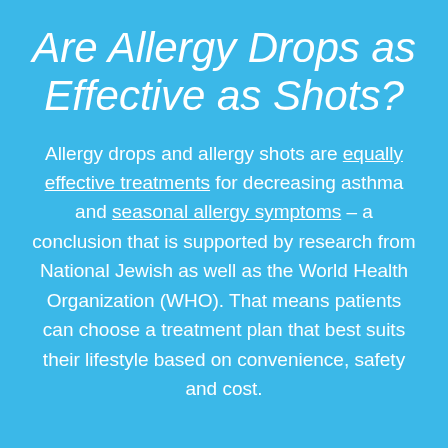Are Allergy Drops as Effective as Shots?
Allergy drops and allergy shots are equally effective treatments for decreasing asthma and seasonal allergy symptoms – a conclusion that is supported by research from National Jewish as well as the World Health Organization (WHO). That means patients can choose a treatment plan that best suits their lifestyle based on convenience, safety and cost.